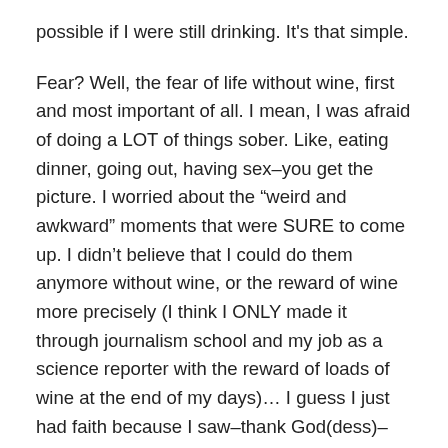possible if I were still drinking. It's that simple.
Fear? Well, the fear of life without wine, first and most important of all. I mean, I was afraid of doing a LOT of things sober. Like, eating dinner, going out, having sex–you get the picture. I worried about the “weird and awkward” moments that were SURE to come up. I didn't believe that I could do them anymore without wine, or the reward of wine more precisely (I think I ONLY made it through journalism school and my job as a science reporter with the reward of loads of wine at the end of my days)… I guess I just had faith because I saw–thank God(dess)–that I truly had no other option.
Now? Well, I’ve done it. Felt the fear and did it (well, many of them) anyway. Had to say, Wow, THAT was weird and awkward, and then shrug my shoulders and move on.